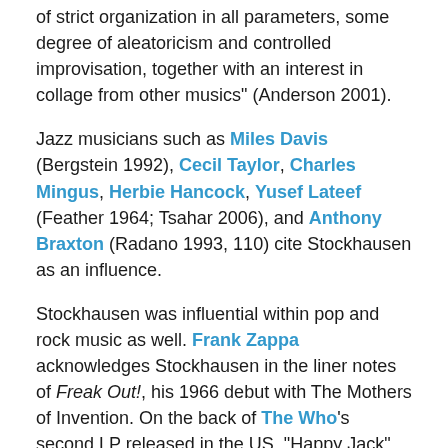of strict organization in all parameters, some degree of aleatoricism and controlled improvisation, together with an interest in collage from other musics" (Anderson 2001).
Jazz musicians such as Miles Davis (Bergstein 1992), Cecil Taylor, Charles Mingus, Herbie Hancock, Yusef Lateef (Feather 1964; Tsahar 2006), and Anthony Braxton (Radano 1993, 110) cite Stockhausen as an influence.
Stockhausen was influential within pop and rock music as well. Frank Zappa acknowledges Stockhausen in the liner notes of Freak Out!, his 1966 debut with The Mothers of Invention. On the back of The Who's second LP released in the US, "Happy Jack", their primary composer and guitarist Pete Townshend, is said to have "an interest in Stockhausen". Rick Wright and Roger Waters of Pink Floyd also acknowledge Stockhausen as an influence (Macon 1997, 141; Bayles 1996, 222). San Francisco psychedelic groups Jefferson Airplane and the Grateful Dead are said to have done the same (Prendergast 2000, 54); Stockhausen said that the Grateful Dead were "well orientated toward